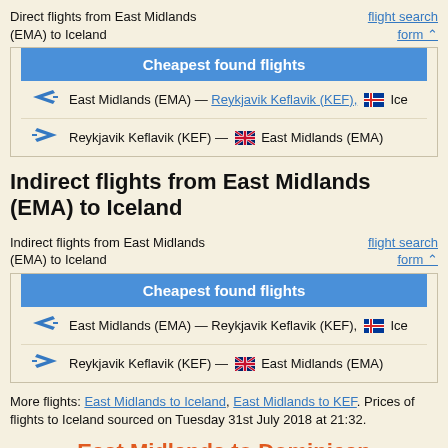Direct flights from East Midlands (EMA) to Iceland
flight search form
| Cheapest found flights |
| --- |
| East Midlands (EMA) — Reykjavik Keflavik (KEF), [Iceland flag] Ice |
| Reykjavik Keflavik (KEF) — [UK flag] East Midlands (EMA) |
Indirect flights from East Midlands (EMA) to Iceland
Indirect flights from East Midlands (EMA) to Iceland
flight search form
| Cheapest found flights |
| --- |
| East Midlands (EMA) — Reykjavik Keflavik (KEF), [Iceland flag] Ice |
| Reykjavik Keflavik (KEF) — [UK flag] East Midlands (EMA) |
More flights: East Midlands to Iceland, East Midlands to KEF. Prices of flights to Iceland sourced on Tuesday 31st July 2018 at 21:32.
East Midlands to Dominican...